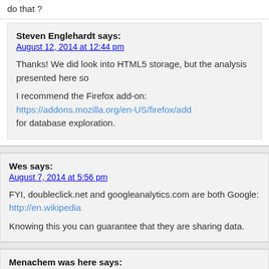do that ?
Steven Englehardt says:
August 12, 2014 at 12:44 pm
Thanks! We did look into HTML5 storage, but the analysis presented here so
I recommend the Firefox add-on: https://addons.mozilla.org/en-US/firefox/add for database exploration.
Wes says:
August 7, 2014 at 5:56 pm
FYI, doubleclick.net and googleanalytics.com are both Google: http://en.wikipedia
Knowing this you can guarantee that they are sharing data.
Menachem was here says:
August 7, 2014 at 6:57 pm
I use dozens of different devices (not exaggerating) to surf the web. I'd be very s